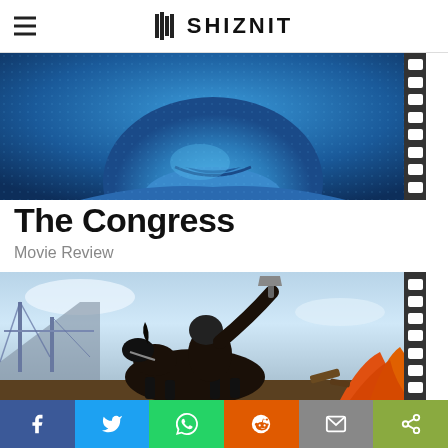SHIZNIT
[Figure (photo): Blue-tinted close-up of a person's lower face and chest with film strip border on right]
The Congress
Movie Review
[Figure (photo): Movie poster of an ape riding a horse and raising an axe with a bridge in the background, film strip border on right]
[Figure (other): Social media share bar with Facebook, Twitter, WhatsApp, Reddit, Email, and Share buttons]